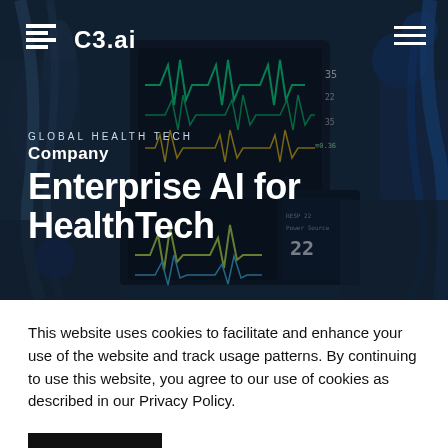[Figure (photo): Medical ICU equipment background showing patient monitors with green ECG waveforms and vital sign displays, overlaid with dark semi-transparent tint]
C3.ai
GLOBAL HEALTH TECH
Company
Enterprise AI for HealthTech
This website uses cookies to facilitate and enhance your use of the website and track usage patterns. By continuing to use this website, you agree to our use of cookies as described in our Privacy Policy.
ACCEPT